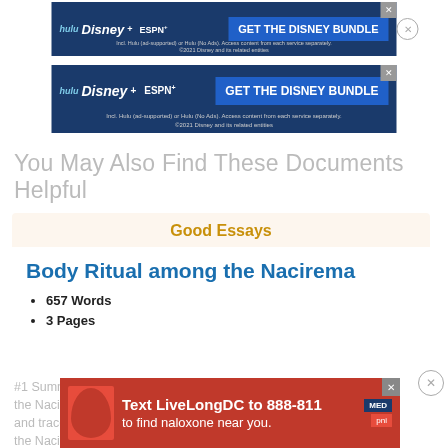[Figure (screenshot): Disney Bundle advertisement banner (top) with Hulu, Disney+, ESPN+ logos and 'GET THE DISNEY BUNDLE' CTA button. Navy blue background. Fine print: Incl. Hulu (ad-supported) or Hulu (No Ads). Access content from each service separately. ©2021 Disney and its related entities.]
[Figure (screenshot): Second Disney Bundle advertisement banner with same content as above.]
You May Also Find These Documents Helpful
Good Essays
Body Ritual among the Nacirema
657 Words
3 Pages
#1 Summary of Miner's "Body Ritual among the Nacirema". In this paper I will summarize and trace Miners paper "Body Ritual among the Nacirema". It talks about how...
[Figure (screenshot): Red advertisement banner: 'Text LiveLongDC to 888-811 to find naloxone near you.' with logos on right side.]